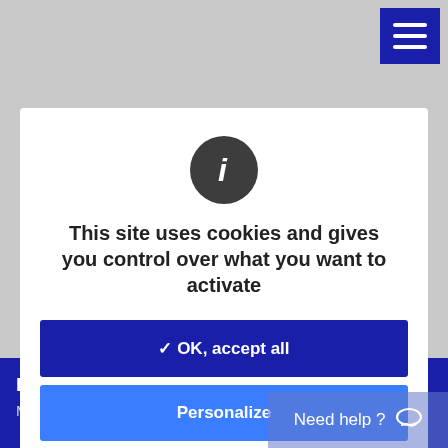[Figure (screenshot): Dark gray top navigation bar with white hamburger menu icon button in top-right corner]
[Figure (infographic): White cookie consent modal dialog with info icon (i), cookie notice text, OK accept all button (dark blue), Personalize button (bright blue), and Privacy policy link]
This site uses cookies and gives you control over what you want to activate
✓ OK, accept all
Personalize
Privacy policy
ETM5106DVB
Material: POM + glass filled
Need help ?